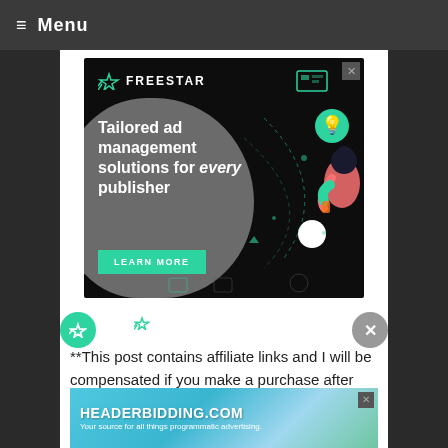≡ Menu
[Figure (illustration): Freestar advertisement banner with dark background, gray blob shape, illustration of a person with lightbulb icon and screen icons. Text: FREESTAR - Tailored ad management solutions for every publisher. LEARN MORE button.]
**This post contains affiliate links and I will be compensated if you make a purchase after
[Figure (illustration): HEADERBIDDING.COM advertisement banner. Text: HEADERBIDDING.COM - Your source for all things programmatic advertising.]